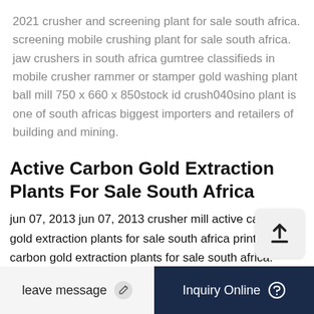2021 crusher and screening plant for sale south africa. screening mobile crushing plant for sale south africa. jaw crushers in south africa gumtree classifieds in mobile crusher rammer or stamper gold washing plant ball mill 750 x 660 x 850stock id crush040sino plant is one of south africas biggest importers and retailers of building and mining.
Active Carbon Gold Extraction Plants For Sale South Africa
jun 07, 2013 jun 07, 2013 crusher mill active carbon gold extraction plants for sale south africa print. active carbon gold extraction plants for sale south africa. posted atjune 7, 4.5 - 1825 ratings gold concentration machine south africa ore beneficiation plant. where arsenopyrite is the only real gol... gold milling machine price in so...